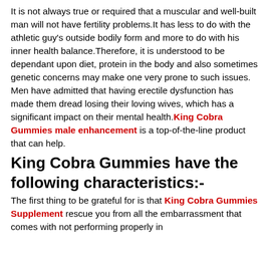It is not always true or required that a muscular and well-built man will not have fertility problems.It has less to do with the athletic guy's outside bodily form and more to do with his inner health balance.Therefore, it is understood to be dependant upon diet, protein in the body and also sometimes genetic concerns may make one very prone to such issues. Men have admitted that having erectile dysfunction has made them dread losing their loving wives, which has a significant impact on their mental health. King Cobra Gummies male enhancement is a top-of-the-line product that can help.
King Cobra Gummies have the following characteristics:-
The first thing to be grateful for is that King Cobra Gummies Supplement rescue you from all the embarrassment that comes with not performing properly in